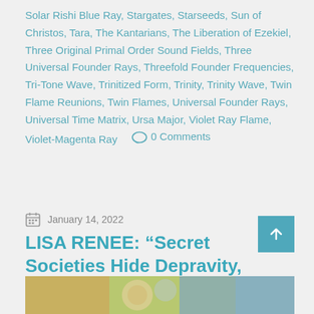Solar Rishi Blue Ray, Stargates, Starseeds, Sun of Christos, Tara, The Kantarians, The Liberation of Ezekiel, Three Original Primal Order Sound Fields, Three Universal Founder Rays, Threefold Founder Frequencies, Tri-Tone Wave, Trinitized Form, Trinity, Trinity Wave, Twin Flame Reunions, Twin Flames, Universal Founder Rays, Universal Time Matrix, Ursa Major, Violet Ray Flame, Violet-Magenta Ray   ○ 0 Comments
January 14, 2022
LISA RENEE: “Secret Societies Hide Depravity, Fallen Anunnaki Shapeshifters”
[Figure (photo): Partial image visible at bottom of page showing decorative or illustrative artwork in warm earth tones]